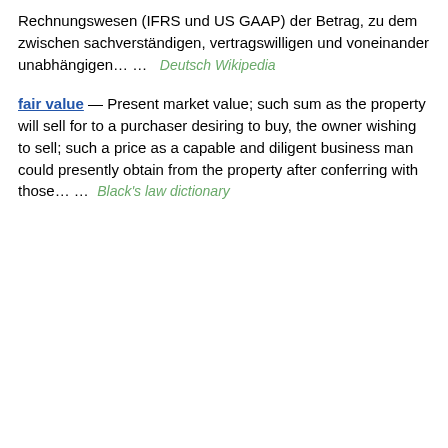Rechnungswesen (IFRS und US GAAP) der Betrag, zu dem zwischen sachverständigen, vertragswilligen und voneinander unabhängigen… …    Deutsch Wikipedia
fair value — Present market value; such sum as the property will sell for to a purchaser desiring to buy, the owner wishing to sell; such a price as a capable and diligent business man could presently obtain from the property after conferring with those… …    Black's law dictionary